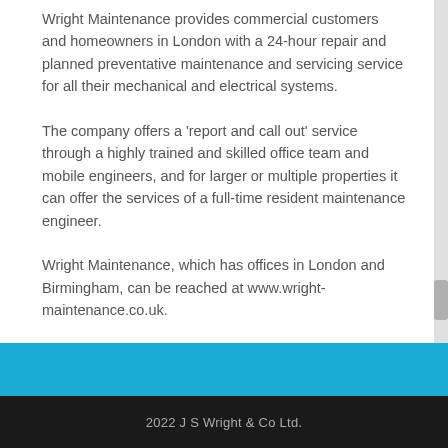Wright Maintenance provides commercial customers and homeowners in London with a 24-hour repair and planned preventative maintenance and servicing service for all their mechanical and electrical systems.
The company offers a 'report and call out' service through a highly trained and skilled office team and mobile engineers, and for larger or multiple properties it can offer the services of a full-time resident maintenance engineer.
Wright Maintenance, which has offices in London and Birmingham, can be reached at www.wright-maintenance.co.uk.
2022 J S Wright & Co Ltd.